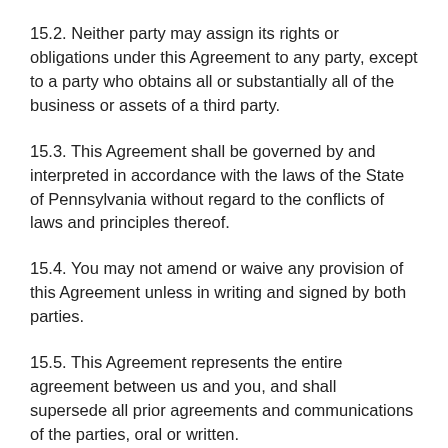15.2. Neither party may assign its rights or obligations under this Agreement to any party, except to a party who obtains all or substantially all of the business or assets of a third party.
15.3. This Agreement shall be governed by and interpreted in accordance with the laws of the State of Pennsylvania without regard to the conflicts of laws and principles thereof.
15.4. You may not amend or waive any provision of this Agreement unless in writing and signed by both parties.
15.5. This Agreement represents the entire agreement between us and you, and shall supersede all prior agreements and communications of the parties, oral or written.